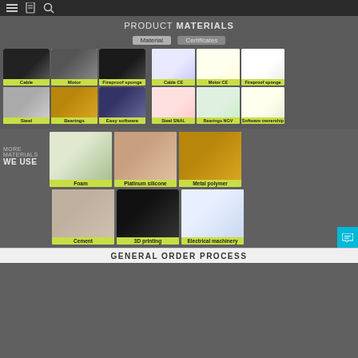navigation bar with menu, book, and search icons
PRODUCT MATERIALS
Material    Certificates
[Figure (photo): Grid of 6 material photos (Cable, Motor, Fireproof sponge, Steel, Bearings, Easy software) and 6 certificate images (Cable CE, Motor CE, Fireproof sponge, Steel SNAL, Bearings NGV, Software ownership)]
MORE MATERIALS WE USE
[Figure (photo): Grid of 6 product photos: Foam (dragon sculpture), Platinum silicone (human bust), Metal polymer (lion sculpture), Cement (stone carving), 3D printing (3D printer with orange print), Electrical machinery (brushless motor, servo motor, stepper motor)]
GENERAL ORDER PROCESS